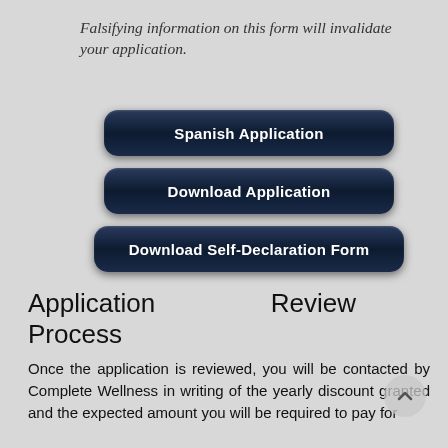Falsifying information on this form will invalidate your application.
[Figure (screenshot): Three dark navy rounded-rectangle buttons: 'Spanish Application', 'Download Application', 'Download Self-Declaration Form']
Application Review Process
Once the application is reviewed, you will be contacted by Complete Wellness in writing of the yearly discount granted and the expected amount you will be required to pay for